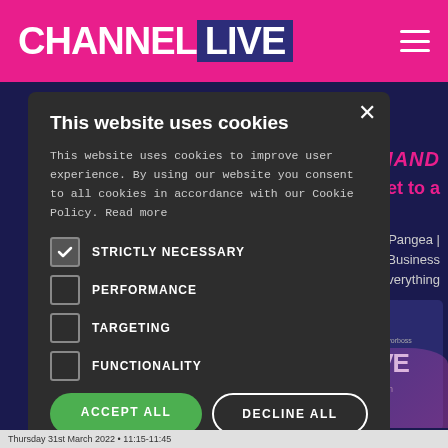[Figure (screenshot): Channel Live website screenshot showing pink header with CHANNEL LIVE logo and dark blue background with partial page content visible behind cookie consent modal]
This website uses cookies
This website uses cookies to improve user experience. By using our website you consent to all cookies in accordance with our Cookie Policy. Read more
STRICTLY NECESSARY (checked)
PERFORMANCE
TARGETING
FUNCTIONALITY
ACCEPT ALL | DECLINE ALL
SHOW DETAILS
Thursday 31st March 2022 • 11:15-11:45